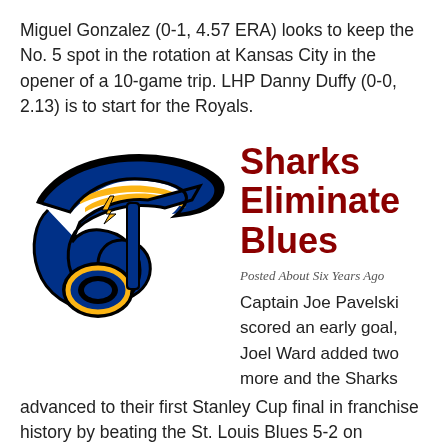Miguel Gonzalez (0-1, 4.57 ERA) looks to keep the No. 5 spot in the rotation at Kansas City in the opener of a 10-game trip. LHP Danny Duffy (0-0, 2.13) is to start for the Royals.
[Figure (logo): St. Louis Blues NHL team logo — blue and gold winged musical note with black outline]
Sharks Eliminate Blues
Posted About Six Years Ago
Captain Joe Pavelski scored an early goal, Joel Ward added two more and the Sharks advanced to their first Stanley Cup final in franchise history by beating the St. Louis Blues 5-2 on